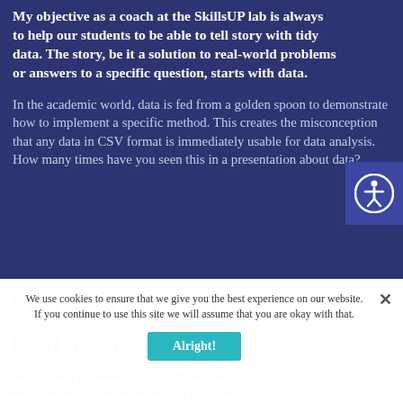My objective as a coach at the SkillsUP lab is always to help our students to be able to tell story with tidy data. The story, be it a solution to real-world problems or answers to a specific question, starts with data.
In the academic world, data is fed from a golden spoon to demonstrate how to implement a specific method. This creates the misconception that any data in CSV format is immediately usable for data analysis. How many times have you seen this in a presentation about data?
We use cookies to ensure that we give you the best experience on our website. If you continue to use this site we will assume that you are okay with that.
Once you add the latest popular off-the-shelf intelligent data visualization tool, it's like rubbing